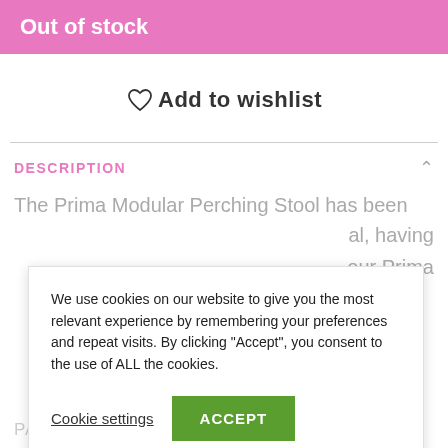Out of stock
♡ Add to wishlist
DESCRIPTION
The Prima Modular Perching Stool has been
al, having
our Prima
We use cookies on our website to give you the most relevant experience by remembering your preferences and repeat visits. By clicking “Accept”, you consent to the use of ALL the cookies.
Cookie settings
ACCEPT
PACK SIZE